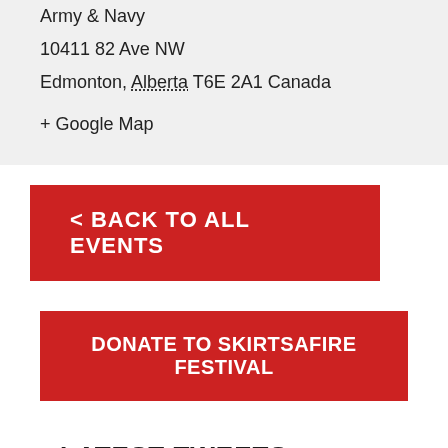Army & Navy
10411 82 Ave NW
Edmonton, Alberta T6E 2A1 Canada
+ Google Map
< BACK TO ALL EVENTS
DONATE TO SKIRTSAFIRE FESTIVAL
LATEST TWEETS